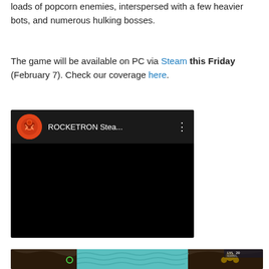loads of popcorn enemies, interspersed with a few heavier bots, and numerous hulking bosses.
The game will be available on PC via Steam this Friday (February 7). Check our coverage here.
[Figure (screenshot): YouTube video thumbnail for ROCKETRON Steam trailer with black video area and channel icon]
[Figure (screenshot): Game screenshot showing top-down shooter gameplay with teal/blue terrain and enemies]